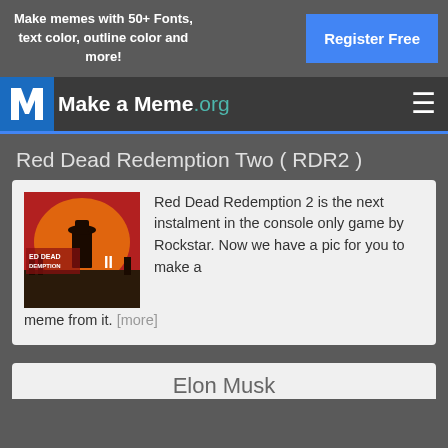Make memes with 50+ Fonts, text color, outline color and more!
Register Free
Make a Meme.org
Red Dead Redemption Two ( RDR2 )
[Figure (illustration): Red Dead Redemption 2 game cover art showing a cowboy with a gun against a red and orange background]
Red Dead Redemption 2 is the next instalment in the console only game by Rockstar. Now we have a pic for you to make a meme from it. [more]
Elon Musk